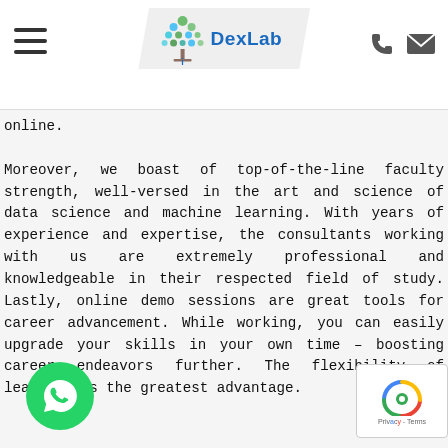DexLab
online. Moreover, we boast of top-of-the-line faculty strength, well-versed in the art and science of data science and machine learning. With years of experience and expertise, the consultants working with us are extremely professional and knowledgeable in their respected field of study. Lastly, online demo sessions are great tools for career advancement. While working, you can easily upgrade your skills in your own time – boosting career endeavors further. The flexibility of learning is the greatest advantage.